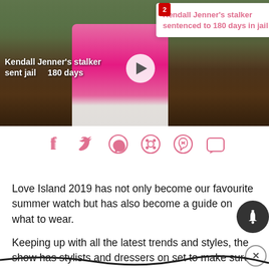[Figure (screenshot): Video thumbnail showing a person in a pink dress at what appears to be a red carpet or public event, with video caption overlay and play button. A popup notification appears in the top right showing 'Kendall Jenner's stalker sentenced to 180 days in jail']
[Figure (infographic): Social media share icons row: Facebook, Twitter, WhatsApp, Reddit, Pinterest, and chat/message icon, all in salmon/pink color]
Love Island 2019 has not only become our favourite summer watch but has also become a guide on what to wear.
Keeping up with all the latest trends and styles, the show has stylists and dressers on set to make sure th